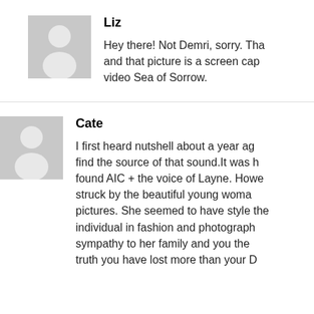[Figure (illustration): Default user avatar icon for Liz - grey square with white silhouette]
Liz
Hey there! Not Demri, sorry. Tha and that picture is a screen cap video Sea of Sorrow.
[Figure (illustration): Default user avatar icon for Cate - grey square with white silhouette]
Cate
I first heard nutshell about a year ag find the source of that sound.It was h found AIC + the voice of Layne. Howe struck by the beautiful young woma pictures. She seemed to have style the individual in fashion and photograph sympathy to her family and you the truth you have lost more than your D